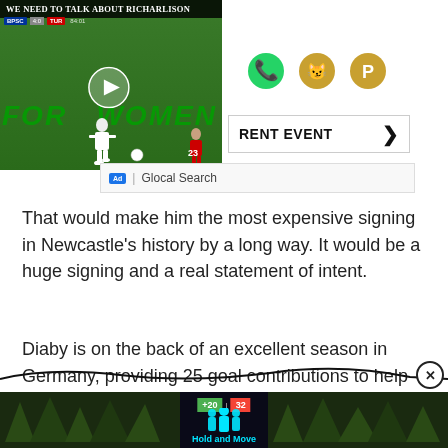[Figure (screenshot): Video thumbnail showing a football/soccer match with title 'We Need To Talk About Richarlison', players on a green pitch with stadium advertising boards reading FOR WOMEN]
[Figure (infographic): Social share icons: WhatsApp (green), Reddit (gold), Pinterest (gold)]
[Figure (screenshot): Current event bar with text 'RENT EVENT' and right chevron arrow]
[Figure (screenshot): Ad bar with Ad badge, separator and 'Glocal Search' text]
That would make him the most expensive signing in Newcastle's history by a long way. It would be a huge signing and a real statement of intent.
Diaby is on the back of an excellent season in Germany, providing 25 goal contributions to help Leverkusen qualify for the Champions League.
[Figure (screenshot): Bottom advertisement banner showing 'Hold and Move' app with dark background and colorful score display, with close/question buttons]